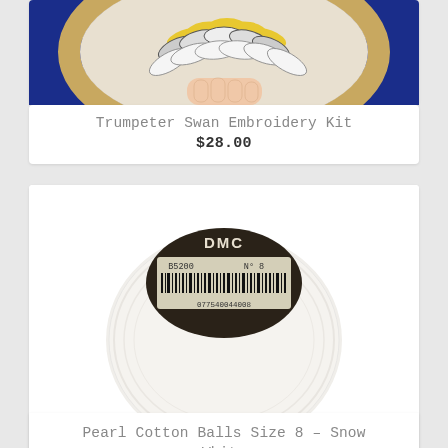[Figure (photo): Hand holding an embroidery hoop with a Trumpeter Swan embroidery design featuring yellow and white feather patterns on blue background]
Trumpeter Swan Embroidery Kit
$28.00
[Figure (photo): DMC Pearl Cotton Ball Size 8 Snow White thread ball with dark label showing B5200 N°8 and barcode 077540044008]
Pearl Cotton Balls Size 8 – Snow White